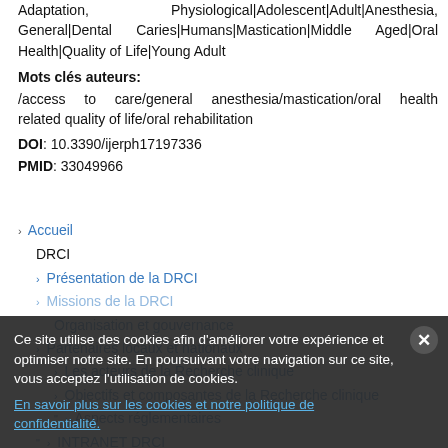Adaptation, Physiological|Adolescent|Adult|Anesthesia, General|Dental Caries|Humans|Mastication|Middle Aged|Oral Health|Quality of Life|Young Adult
Mots clés auteurs:
/access to care/general anesthesia/mastication/oral health related quality of life/oral rehabilitation
DOI: 10.3390/ijerph17197336
PMID: 33049966
Accueil
DRCI
Présentation de la DRCI
Missions de la DRCI
Organisation et gouvernance
Partenaires locaux et nationaux
Les acteurs de la Recherche clinique
Objectifs et composantes de la Recherche clinique
Aspects réglementaires
INTRANET DRCI
Promotion
Promotion externe
Ce site utilise des cookies afin d'améliorer votre expérience et optimiser notre site. En poursuivant votre navigation sur ce site, vous acceptez l'utilisation de cookies.
En savoir plus sur les cookies et notre politique de confidentialité.